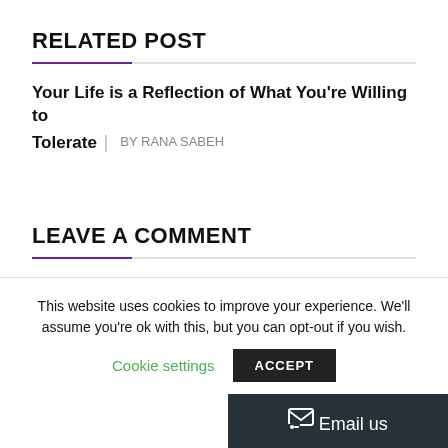RELATED POST
Your Life is a Reflection of What You're Willing to Tolerate  |  By RANA SABEH
LEAVE A COMMENT
You must be logged in to post a comment.
This website uses cookies to improve your experience. We'll assume you're ok with this, but you can opt-out if you wish.
Cookie settings
ACCEPT
Email us